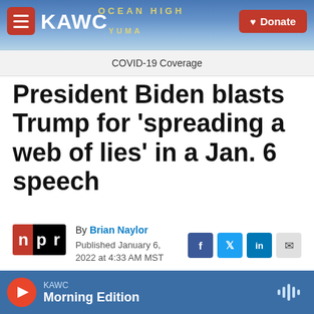KAWC | Donate
COVID-19 Coverage
President Biden blasts Trump for 'spreading a web of lies' in a Jan. 6 speech
By Brian Naylor
Published January 6, 2022 at 4:33 AM MST
KAWC Morning Edition